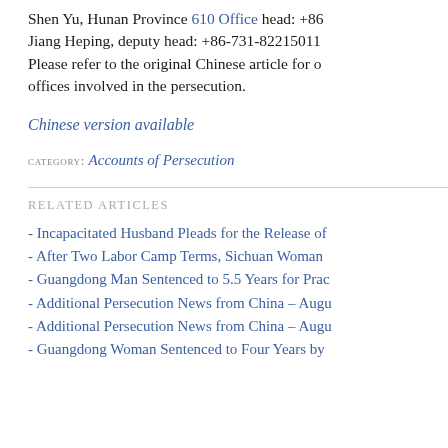Shen Yu, Hunan Province 610 Office head: +86… Jiang Heping, deputy head: +86-731-82215011 Please refer to the original Chinese article for other offices involved in the persecution.
Chinese version available
CATEGORY: Accounts of Persecution
RELATED ARTICLES
- Incapacitated Husband Pleads for the Release of…
- After Two Labor Camp Terms, Sichuan Woman…
- Guangdong Man Sentenced to 5.5 Years for Prac…
- Additional Persecution News from China – Augu…
- Additional Persecution News from China – Augu…
- Guangdong Woman Sentenced to Four Years by…